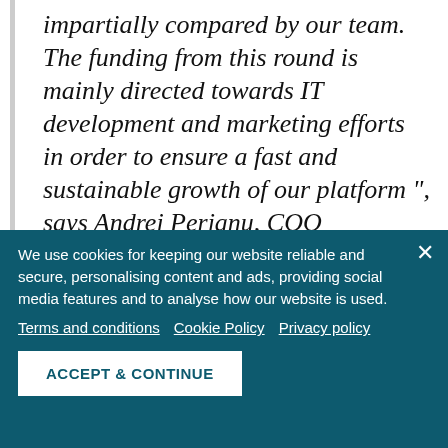impartially compared by our team. The funding from this round is mainly directed towards IT development and marketing efforts in order to ensure a fast and sustainable growth of our platform ", says Andrei Perianu, COO Bankata.ro.
Bankata.ro is addressed to Romanians looking for a digital interaction with financial products, introduced in an impartial and friendly language. Also to those looking for a
We use cookies for keeping our website reliable and secure, personalising content and ads, providing social media features and to analyse how our website is used.
Terms and conditions   Cookie Policy   Privacy policy
ACCEPT & CONTINUE